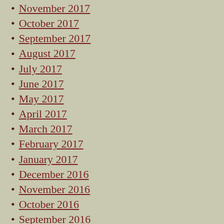November 2017
October 2017
September 2017
August 2017
July 2017
June 2017
May 2017
April 2017
March 2017
February 2017
January 2017
December 2016
November 2016
October 2016
September 2016
August 2016
July 2016
March 2016
February 2016
January 2016
December 2015